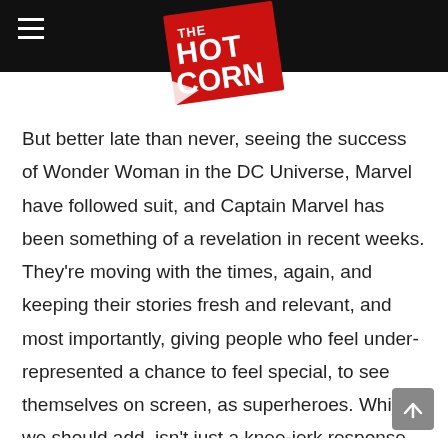THE HOT CORN (logo)
But better late than never, seeing the success of Wonder Woman in the DC Universe, Marvel have followed suit, and Captain Marvel has been something of a revelation in recent weeks. They're moving with the times, again, and keeping their stories fresh and relevant, and most importantly, giving people who feel under-represented a chance to feel special, to see themselves on screen, as superheroes. Which, we should add, isn't just a knee-jerk response to the current social climate, for these characters have long existed. This isn't Marvel creating black and female superheroes just in response to the current climate and issues within the industry, we have these characters ingrained into the fabric of the comic book generation